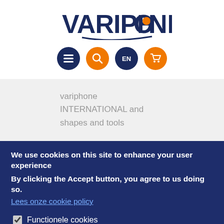[Figure (logo): Variphone logo with orange dot on the O and dark blue swoosh arc underneath, text VARIPHONE in dark navy bold capitals]
[Figure (infographic): Four circular navigation icon buttons: dark blue hamburger menu, orange magnifying glass, dark blue EN language selector, orange shopping cart]
variphone INTERNATIONAL and shapes and tools
We use cookies on this site to enhance your user experience
By clicking the Accept button, you agree to us doing so.
Lees onze cookie policy
☑ Functionele cookies
Save preferences
Accept all cookies